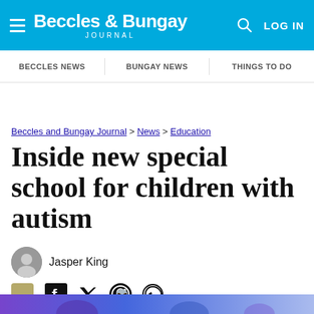Beccles & Bungay Journal | LOG IN
BECCLES NEWS | BUNGAY NEWS | THINGS TO DO
Beccles and Bungay Journal > News > Education
Inside new special school for children with autism
Jasper King
Published: 3:48 PM April 2, 2022
[Figure (photo): Bottom strip of a photo showing people, partially visible, purple and blue tones]